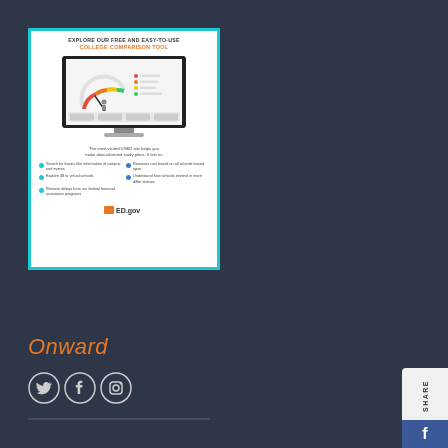[Figure (infographic): Infographic card with teal border showing a college comparison tool on a monitor screen, with a gauge/speedometer chart, bullet points, and a logo. Title reads 'EXPLORE OUR FREE AND EASY-TO-USE COLLEGE COMPARISON TOOL']
Onward
[Figure (other): Social media icons: Twitter bird, Facebook F, and Instagram camera]